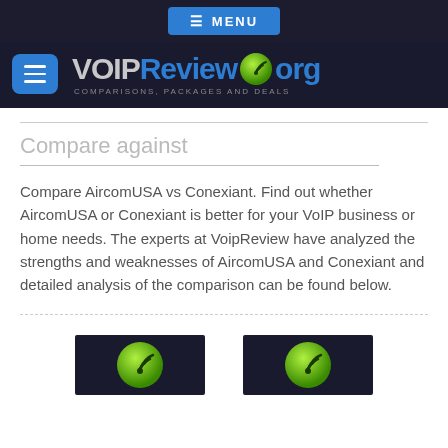≡ MENU
[Figure (logo): VOIPReview.org logo with hamburger menu icon and tagline COMPARISONS, PACKAGES AND DEALS]
Compare against
Compare AircomUSA vs Conexiant. Find out whether AircomUSA or Conexiant is better for your VoIP business or home needs. The experts at VoipReview have analyzed the strengths and weaknesses of AircomUSA and Conexiant and detailed analysis of the comparison can be found below.
[Figure (screenshot): Two provider logo thumbnails side by side on dark background, both showing green WiFi-style broadcast icon]